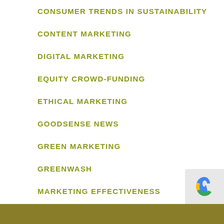CONSUMER TRENDS IN SUSTAINABILITY
CONTENT MARKETING
DIGITAL MARKETING
EQUITY CROWD-FUNDING
ETHICAL MARKETING
GOODSENSE NEWS
GREEN MARKETING
GREENWASH
MARKETING EFFECTIVENESS
MARKETING SOFTWARE AND TECHNOLOGY
MARKETING TRENDS
MESSAGING